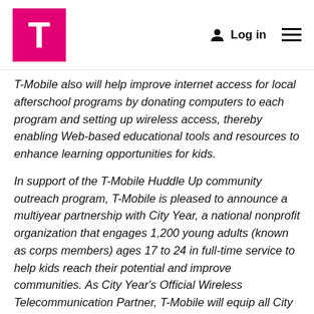T-Mobile logo, Log in, Menu
T-Mobile also will help improve internet access for local afterschool programs by donating computers to each program and setting up wireless access, thereby enabling Web-based educational tools and resources to enhance learning opportunities for kids.
In support of the T-Mobile Huddle Up community outreach program, T-Mobile is pleased to announce a multiyear partnership with City Year, a national nonprofit organization that engages 1,200 young adults (known as corps members) ages 17 to 24 in full-time service to help kids reach their potential and improve communities. As City Year's Official Wireless Telecommunication Partner, T-Mobile will equip all City Year corps members and staff in 16 cities nationwide with T-Mobile handsets and